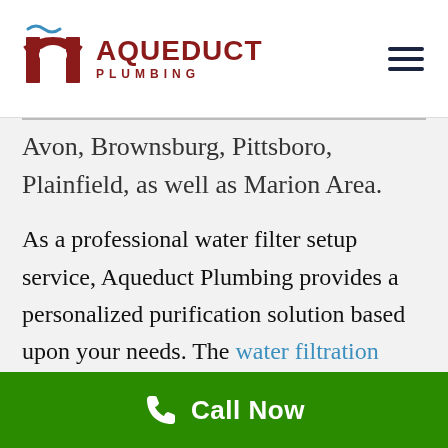Aqueduct Plumbing — logo and navigation header
…Whitestown, Zionsville, Hendricks Area, Avon, Brownsburg, Pittsboro, Plainfield, as well as Marion Area.
As a professional water filter setup service, Aqueduct Plumbing provides a personalized purification solution based upon your needs. The water filtration system eliminates any type of contaminations inside the water and makes it completely risk-free to consume
Call Now